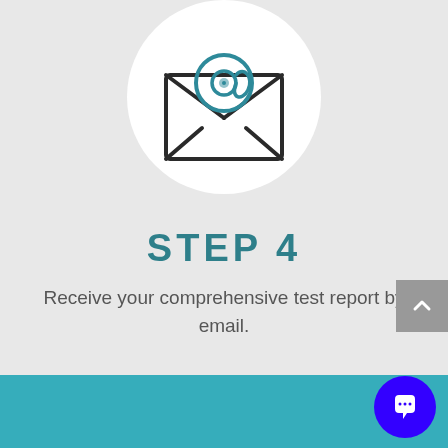[Figure (illustration): Email icon: open envelope with @ symbol inside, inside a white circle, on a light grey background]
STEP 4
Receive your comprehensive test report by email.
[Figure (photo): Teal/turquoise background section at the bottom of the page, appears to show hands in a teal-tinted photo]
[Figure (other): Grey scroll-to-top button with upward arrow chevron on the right side]
[Figure (other): Blue circular chat/messaging button in the bottom right corner]